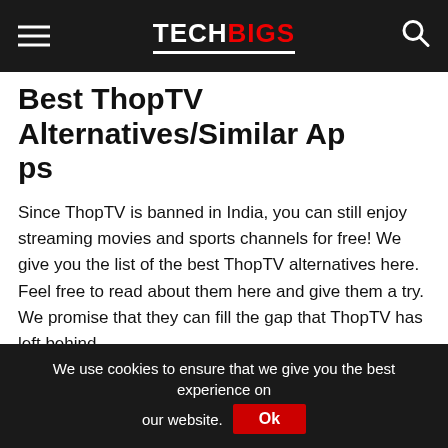TECHBIGS
Best ThopTV Alternatives/Similar Apps
Since ThopTV is banned in India, you can still enjoy streaming movies and sports channels for free! We give you the list of the best ThopTV alternatives here. Feel free to read about them here and give them a try. We promise that they can fill the gap that ThopTV has left behind.
Hunk TV
If you're looking for a way to watch movies and shows for free, then Hunk TV is the best one to get. This app is perfect
We use cookies to ensure that we give you the best experience on our website. Ok